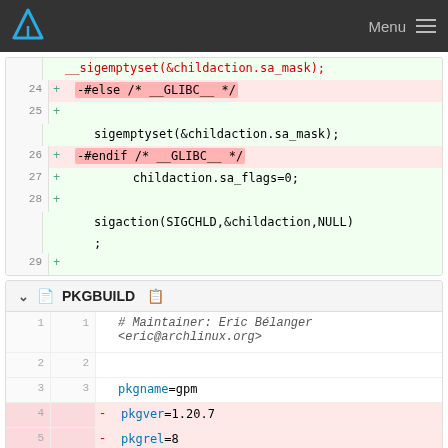Menu
[Figure (screenshot): Code diff view showing lines 24-29 with additions including -#else /* __GLIBC__ */, sigemptyset(&childaction.sa_mask);, -#endif /* __GLIBC__ */, childaction.sa_flags=0;, sigaction(SIGCHLD,&childaction,NULL);]
PKGBUILD
| old | new | diff | code |
| --- | --- | --- | --- |
| 1 | 1 |  | # Maintainer: Eric Bélanger <eric@archlinux.org> |
| 2 | 2 |  |  |
| 3 | 3 |  | pkgname=gpm |
| 4 |  | - | pkgver=1.20.7 |
| 5 |  | - | pkgrel=8 |
| 6 |  | - | pkgdesc="A mouse server for the |